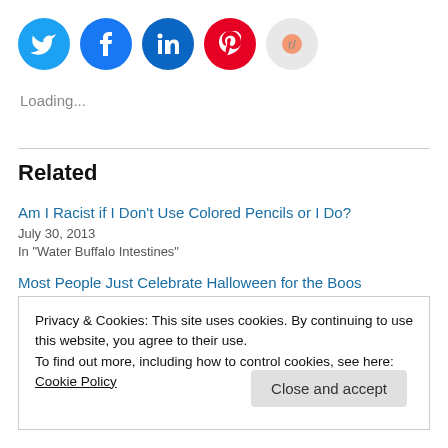[Figure (infographic): Social media sharing icons: Twitter (blue), Facebook (blue), LinkedIn (dark blue), Pinterest (red), Reddit (light gray)]
Loading...
Related
Am I Racist if I Don't Use Colored Pencils or I Do?
July 30, 2013
In "Water Buffalo Intestines"
Most People Just Celebrate Halloween for the Boos
Privacy & Cookies: This site uses cookies. By continuing to use this website, you agree to their use.
To find out more, including how to control cookies, see here: Cookie Policy